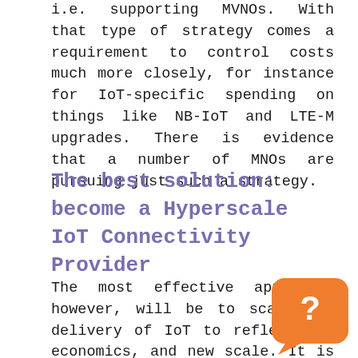i.e. supporting MVNOs. With that type of strategy comes a requirement to control costs much more closely, for instance for IoT-specific spending on things like NB-IoT and LTE-M upgrades. There is evidence that a number of MNOs are pursuing just such a strategy.
The best solution: become a Hyperscale IoT Connectivity Provider
The most effective approach, however, will be to scale the delivery of IoT to reflect the economics, and new scale. It is only by ng onboarding and ongoing connectivity costs that a connectivity provider can offer the scalability to support the hoped-for billions of devices at the
[Figure (illustration): Orange rounded square chat bubble icon with a question mark inside]